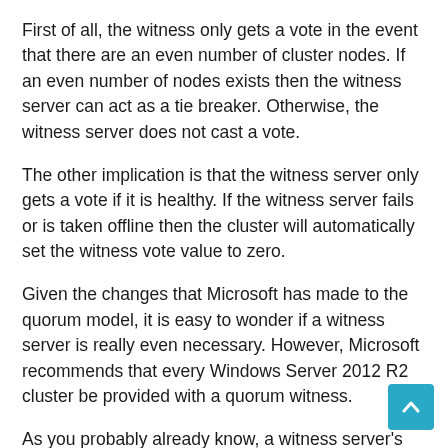First of all, the witness only gets a vote in the event that there are an even number of cluster nodes. If an even number of nodes exists then the witness server can act as a tie breaker. Otherwise, the witness server does not cast a vote.
The other implication is that the witness server only gets a vote if it is healthy. If the witness server fails or is taken offline then the cluster will automatically set the witness vote value to zero.
Given the changes that Microsoft has made to the quorum model, it is easy to wonder if a witness server is really even necessary. However, Microsoft recommends that every Windows Server 2012 R2 cluster be provided with a quorum witness.
As you probably already know, a witness server's job is act as a tie breaker in situations in which there is a 50 / 50 node split within the failover cluster. However, Microsoft